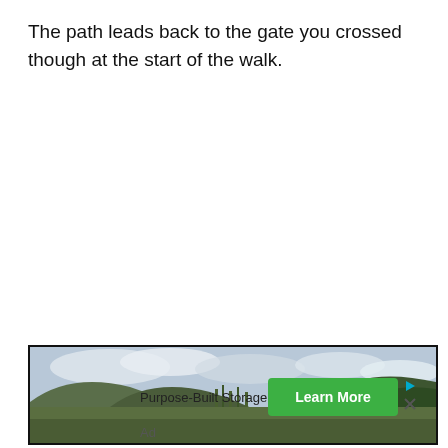The path leads back to the gate you crossed though at the start of the walk.
[Figure (photo): Landscape photo showing a valley with hills, cloudy sky, and green trees]
Purpose-Built Storage for IT
Learn More
Ad